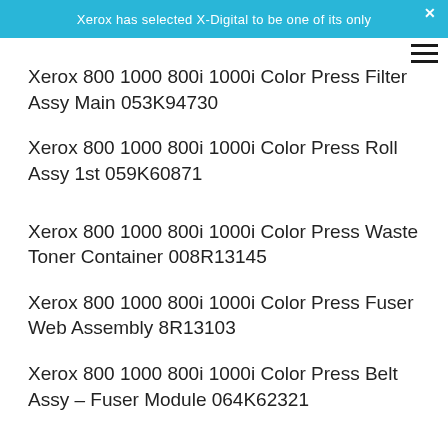Xerox has selected X-Digital to be one of its only
Xerox 800 1000 800i 1000i Color Press Filter Assy Main 053K94730
Xerox 800 1000 800i 1000i Color Press Roll Assy 1st 059K60871
Xerox 800 1000 800i 1000i Color Press Waste Toner Container 008R13145
Xerox 800 1000 800i 1000i Color Press Fuser Web Assembly 8R13103
Xerox 800 1000 800i 1000i Color Press Belt Assy – Fuser Module 064K62321